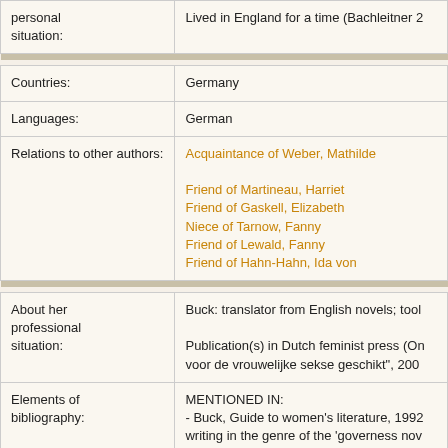| Field | Value |
| --- | --- |
| personal situation: | Lived in England for a time (Bachleitner 2... |
| Countries: | Germany |
| Languages: | German |
| Relations to other authors: | Acquaintance of Weber, Mathilde
Friend of Martineau, Harriet
Friend of Gaskell, Elizabeth
Niece of Tarnow, Fanny
Friend of Lewald, Fanny
Friend of Hahn-Hahn, Ida von |
| About her professional situation: | Buck: translator from English novels; too...
Publication(s) in Dutch feminist press (On... voor de vrouwelijke sekse geschikt", 200... |
| Elements of bibliography: | MENTIONED IN:
- Buck, Guide to women's literature, 1992... writing in the genre of the 'governess nov...

Cf. |